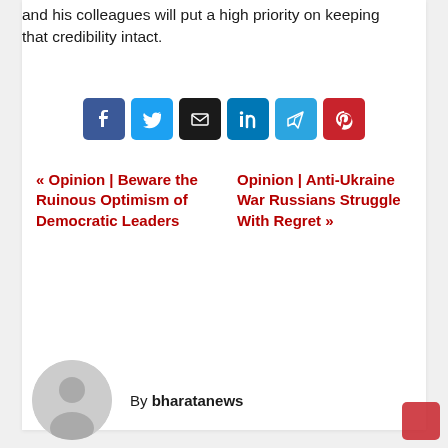and his colleagues will put a high priority on keeping that credibility intact.
[Figure (infographic): Row of six social share buttons: Facebook (blue), Twitter (light blue), Email (black), LinkedIn (dark blue), Telegram (sky blue), Pinterest (red)]
« Opinion | Beware the Ruinous Optimism of Democratic Leaders
Opinion | Anti-Ukraine War Russians Struggle With Regret »
By bharatanews